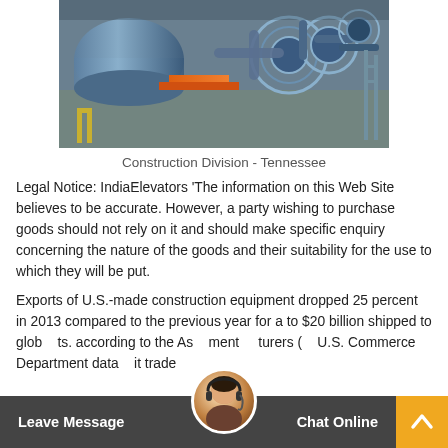[Figure (photo): Aerial/overhead view of industrial construction equipment - large blue cylindrical machinery and mechanical components, Construction Division Tennessee]
Construction Division - Tennessee
Legal Notice: IndiaElevators 'The information on this Web Site believes to be accurate. However, a party wishing to purchase goods should not rely on it and should make specific enquiry concerning the nature of the goods and their suitability for the use to which they will be put.
Exports of U.S.-made construction equipment dropped 25 percent in 2013 compared to the previous year for a to $20 billion shipped to glob ts. according to the As ment turers ( U.S. Commerce Department data it trade
Leave Message   Chat Online